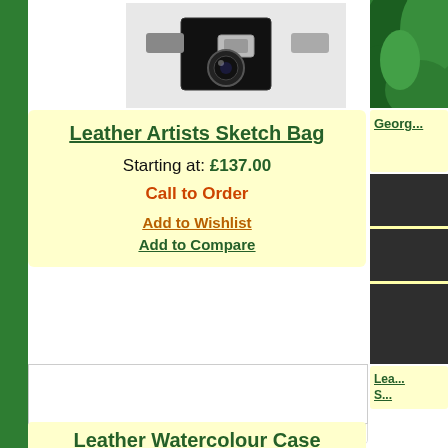[Figure (photo): Partial product photo of a leather artists sketch bag at the top of the page]
Leather Artists Sketch Bag
Starting at: £137.00
Call to Order
Add to Wishlist
Add to Compare
[Figure (photo): Partial green foliage image on the right side, top]
Georg...
[Figure (photo): Dark product image blocks on right sidebar]
[Figure (photo): White empty area - Leather Watercolour Case product image placeholder]
Leather Watercolour Case
Lea... S...